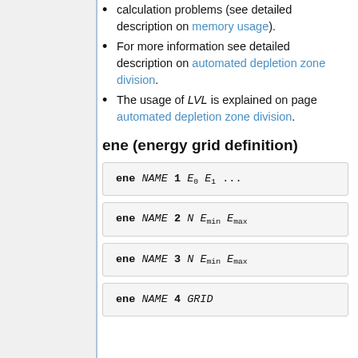calculation problems (see detailed description on memory usage).
For more information see detailed description on automated depletion zone division.
The usage of LVL is explained on page automated depletion zone division.
ene (energy grid definition)